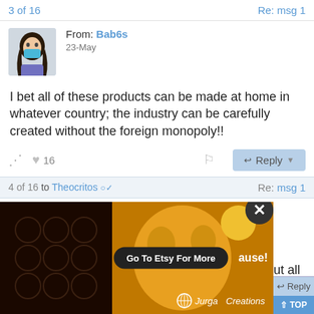3 of 16    Re: msg 1
From: Bab6s
23-May
I bet all of these products can be made at home in whatever country; the industry can be carefully created without the foreign monopoly!!
4 of 16 to Theocritos   Re: msg 1
From: MochaSofa
23-May
The massive manufacture purposely forgot about all ...ause!
[Figure (illustration): Ad overlay: colorful artwork with 'Go To Etsy For More' button and 'Jurga Creations' watermark, with close (X) button]